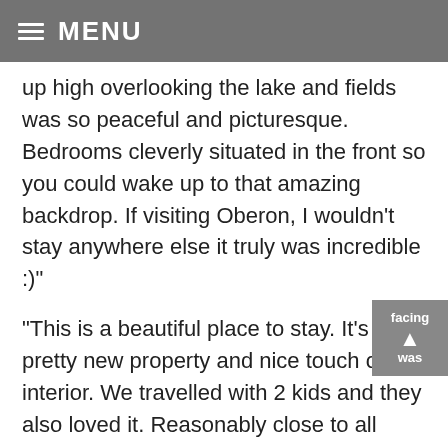MENU
up high overlooking the lake and fields was so peaceful and picturesque. Bedrooms cleverly situated in the front so you could wake up to that amazing backdrop. If visiting Oberon, I wouldn't stay anywhere else it truly was incredible :)"
“This is a beautiful place to stay. It’s a pretty new property and nice touch of interior. We travelled with 2 kids and they also loved it. Reasonably close to all country small towns and lovely lake view. We had great time at this lovely place”
“Julie and Tony personally received us with much warmth and guided us around the property, which is located facing the beautiful Oberon lake. During the Covid times, it was very humbling to experience such kindness and generosity. The property itself has everything and more than what you